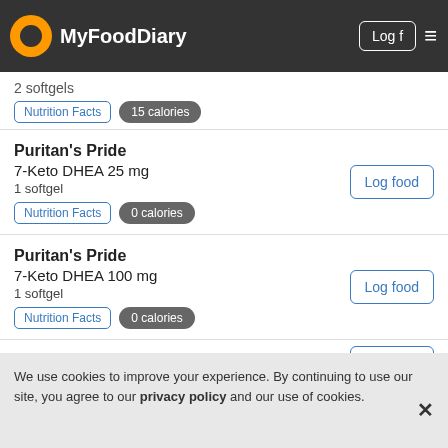MyFoodDiary
2 softgels
15 calories
Puritan's Pride
7-Keto DHEA 25 mg
1 softgel
0 calories
Puritan's Pride
7-Keto DHEA 100 mg
1 softgel
0 calories
Puritan's Pride
Calcium Citrate + Vitamin D3 Miniatures
We use cookies to improve your experience. By continuing to use our site, you agree to our privacy policy and our use of cookies.